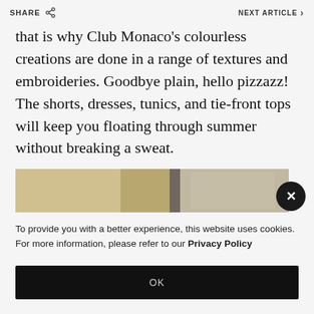SHARE  NEXT ARTICLE >
that is why Club Monaco’s colourless creations are done in a range of textures and embroideries. Goodbye plain, hello pizzazz! The shorts, dresses, tunics, and tie-front tops will keep you floating through summer without breaking a sweat.
[Figure (photo): Partial view of clothing/fashion image strip]
To provide you with a better experience, this website uses cookies. For more information, please refer to our Privacy Policy
OK